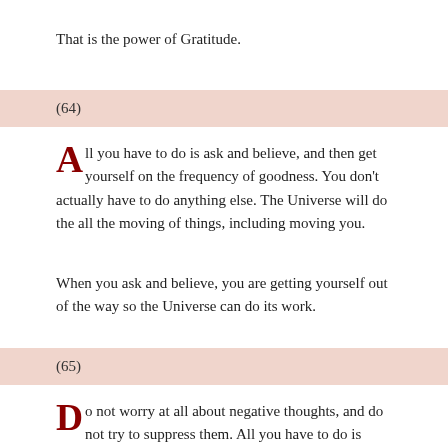That is the power of Gratitude.
(64)
All you have to do is ask and believe, and then get yourself on the frequency of goodness. You don't actually have to do anything else. The Universe will do the all the moving of things, including moving you.
When you ask and believe, you are getting yourself out of the way so the Universe can do its work.
(65)
Do not worry at all about negative thoughts, and do not try to suppress them. All you have to do is begin to think good thoughts each day. Plant as many good thoughts as you can in each day. As you begin to think good thoughts you will attract more and more good thoughts.